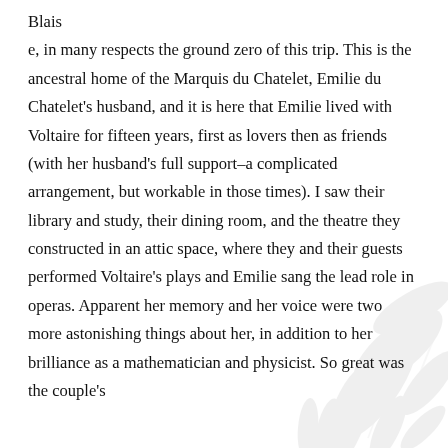Blaise, in many respects the ground zero of this trip. This is the ancestral home of the Marquis du Chatelet, Emilie du Chatelet's husband, and it is here that Emilie lived with Voltaire for fifteen years, first as lovers then as friends (with her husband's full support–a complicated arrangement, but workable in those times). I saw their library and study, their dining room, and the theatre they constructed in an attic space, where they and their guests performed Voltaire's plays and Emilie sang the lead role in operas. Apparent her memory and her voice were two more astonishing things about her, in addition to her brilliance as a mathematician and physicist. So great was the couple's